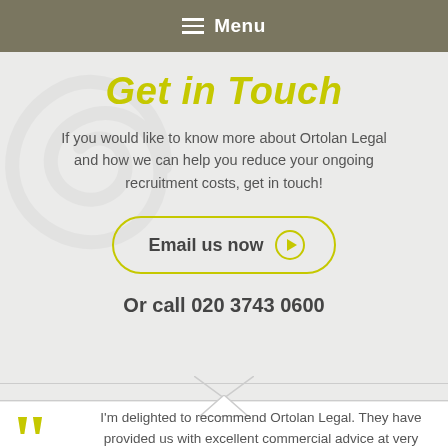Menu
Get in Touch
If you would like to know more about Ortolan Legal and how we can help you reduce your ongoing recruitment costs, get in touch!
Email us now
Or call 020 3743 0600
I'm delighted to recommend Ortolan Legal. They have provided us with excellent commercial advice at very competitive rates.
Alan Halsall, Chairman Silver Cross